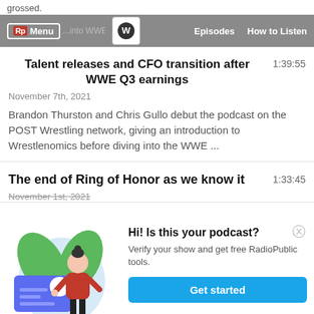grossed.
Menu | [podcast icon] | Episodes | How to Listen
Talent releases and CFO transition after WWE Q3 earnings
1:39:55
November 7th, 2021
Brandon Thurston and Chris Gullo debut the podcast on the POST Wrestling network, giving an introduction to Wrestlenomics before diving into the WWE ...
The end of Ring of Honor as we know it
1:33:45
November 1st, 2021
[Figure (illustration): Illustration of a woman in a red top and black pants standing next to a large blue card with a checkmark, with green leaves in the background and a light blue circular backdrop.]
Hi! Is this your podcast? Verify your show and get free RadioPublic tools. Get started